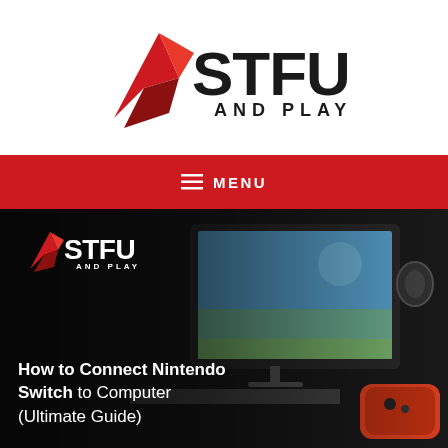[Figure (logo): STFU AND PLAY logo with red wing/arrow graphic on left and bold black STFU text with AND PLAY below]
☰  MENU
[Figure (photo): Hero image showing a Nintendo Switch being used with an iMac displaying a racing game, with STFU AND PLAY logo overlay and article title 'How to Connect Nintendo Switch to Computer (Ultimate Guide)']